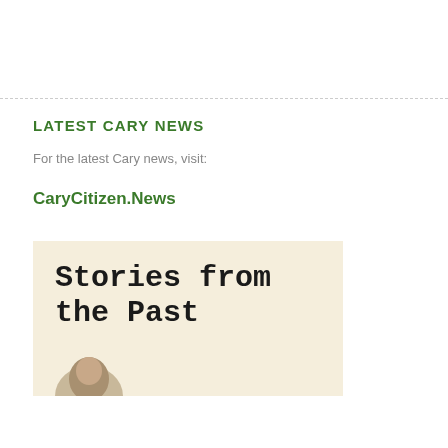LATEST CARY NEWS
For the latest Cary news, visit:
CaryCitizen.News
[Figure (illustration): Book cover image with cream/parchment background showing the title 'Stories from the Past' in bold typewriter font, with a partial circular portrait image at the bottom.]